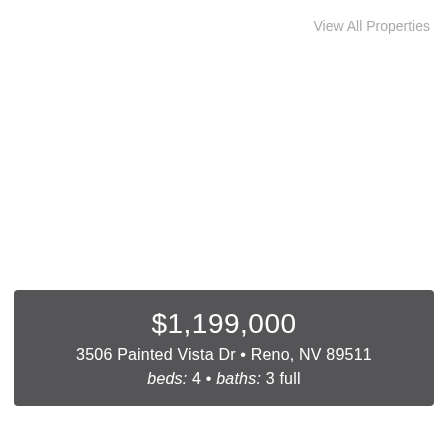View All Properties
$1,199,000
3506 Painted Vista Dr • Reno, NV 89511
beds: 4 • baths: 3 full